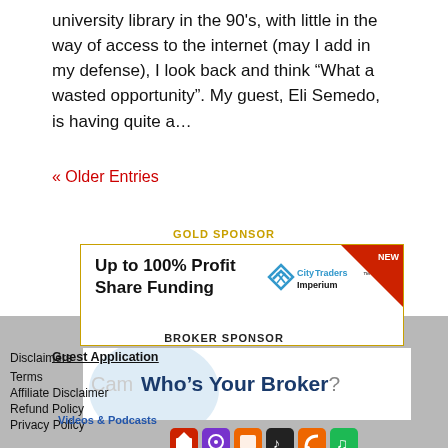university library in the 90's, with little in the way of access to the internet (may I add in my defense), I look back and think “What a wasted opportunity”. My guest, Eli Semedo, is having quite a…
« Older Entries
GOLD SPONSOR
[Figure (advertisement): City Traders Imperium ad: Up to 100% Profit Share Funding with NEW badge in red corner and logo]
Guest Application
BROKER SPONSOR
[Figure (advertisement): Cam Who’s Your Broker? advertisement banner with blue circle watermark]
Disclaimers
Terms
Affiliate Disclaimer
Refund Policy
Privacy Policy
Videos & Podcasts